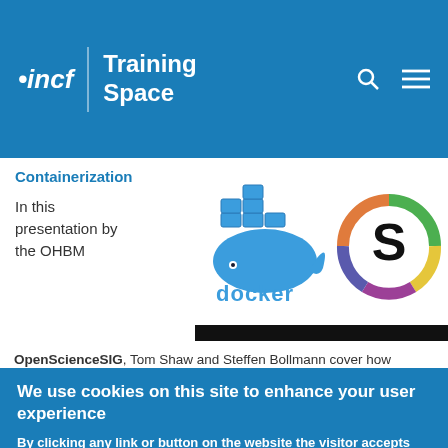incf | Training Space
Containerization
In this presentation by the OHBM
[Figure (logo): Docker logo with whale carrying containers and 'docker' text]
[Figure (logo): Singularity logo with colorful circular S emblem]
OpenScienceSIG, Tom Shaw and Steffen Bollmann cover how containers can be useful for running the same software
We use cookies on this site to enhance your user experience
By clicking any link or button on the website the visitor accepts the cookie policy. More info
Accept
No, thanks